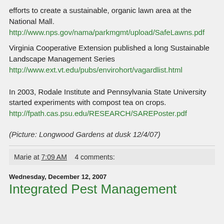efforts to create a sustainable, organic lawn area at the National Mall.
http://www.nps.gov/nama/parkmgmt/upload/SafeLawns.pdf
Virginia Cooperative Extension published a long Sustainable Landscape Management Series
http://www.ext.vt.edu/pubs/envirohort/vagardlist.html
In 2003, Rodale Institute and Pennsylvania State University started experiments with compost tea on crops.
http://fpath.cas.psu.edu/RESEARCH/SAREPoster.pdf
(Picture: Longwood Gardens at dusk 12/4/07)
Marie at 7:09 AM    4 comments:
Wednesday, December 12, 2007
Integrated Pest Management